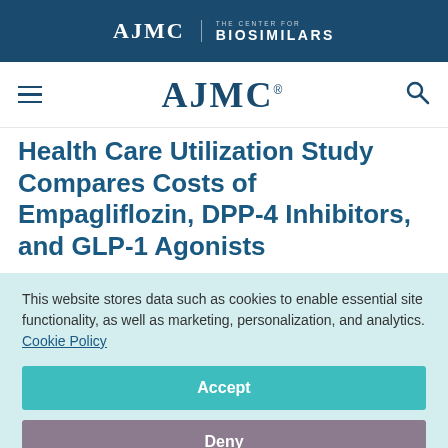AJMC | THE CENTER FOR BIOSIMILARS
AJMC
Health Care Utilization Study Compares Costs of Empagliflozin, DPP-4 Inhibitors, and GLP-1 Agonists
This website stores data such as cookies to enable essential site functionality, as well as marketing, personalization, and analytics. Cookie Policy
Accept
Deny